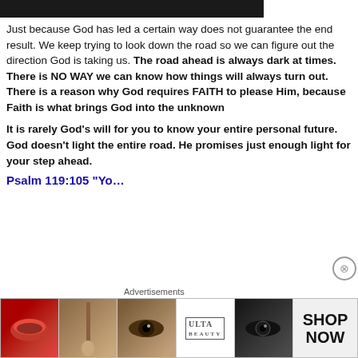[Figure (photo): Partial dark image at the top of the page, cropped]
Just because God has led a certain way does not guarantee the end result. We keep trying to look down the road so we can figure out the direction God is taking us. The road ahead is always dark at times. There is NO WAY we can know how things will always turn out. There is a reason why God requires FAITH to please Him, because Faith is what brings God into the unknown
It is rarely God’s will for you to know your entire personal future. God doesn’t light the entire road. He promises just enough light for your step ahead.
Psalm 119:105 “You...
[Figure (photo): Ulta Beauty advertisement banner showing makeup images with SHOP NOW text]